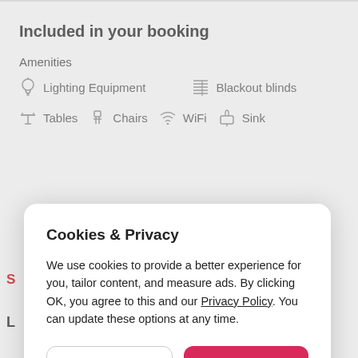Included in your booking
Amenities
Lighting Equipment
Blackout blinds
Tables
Chairs
WiFi
Sink
Cookies & Privacy
We use cookies to provide a better experience for you, tailor content, and measure ads. By clicking OK, you agree to this and our Privacy Policy. You can update these options at any time.
Cookie Preferences
OK